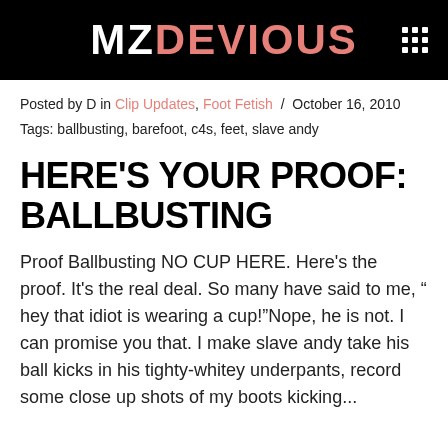MZDEVIOUS
Posted by D in Clip Updates, Foot Fetish / October 16, 2010
Tags: ballbusting, barefoot, c4s, feet, slave andy
HERE'S YOUR PROOF: BALLBUSTING
Proof Ballbusting NO CUP HERE. Here's the proof. It's the real deal. So many have said to me, " hey that idiot is wearing a cup!"Nope, he is not. I can promise you that. I make slave andy take his ball kicks in his tighty-whitey underpants, record some close up shots of my boots kicking...